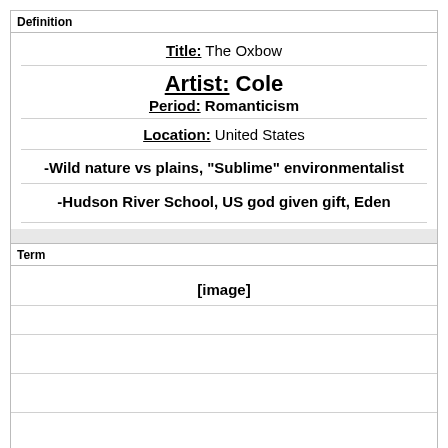Definition
Title: The Oxbow
Artist: Cole
Period: Romanticism
Location: United States
-Wild nature vs plains, "Sublime" environmentalist
-Hudson River School, US god given gift, Eden
Term
[image]